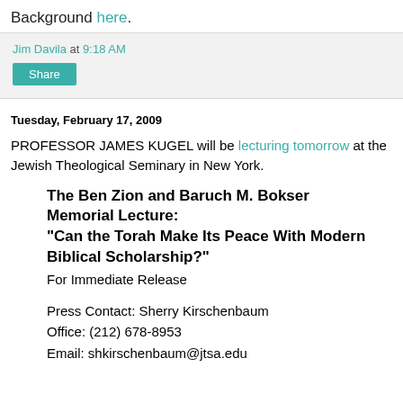Background here.
Jim Davila at 9:18 AM
Share
Tuesday, February 17, 2009
PROFESSOR JAMES KUGEL will be lecturing tomorrow at the Jewish Theological Seminary in New York.
The Ben Zion and Baruch M. Bokser Memorial Lecture:
"Can the Torah Make Its Peace With Modern Biblical Scholarship?"
For Immediate Release
Press Contact: Sherry Kirschenbaum
Office: (212) 678-8953
Email: shkirschenbaum@jtsa.edu